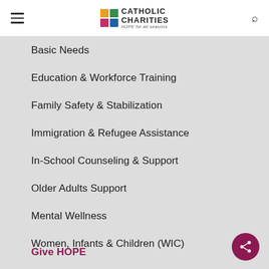[Figure (logo): Catholic Charities logo with colorful squares grid and text 'HOPE for all seasons']
Basic Needs
Education & Workforce Training
Family Safety & Stabilization
Immigration & Refugee Assistance
In-School Counseling & Support
Older Adults Support
Mental Wellness
Women, Infants & Children (WIC)
Give HOPE